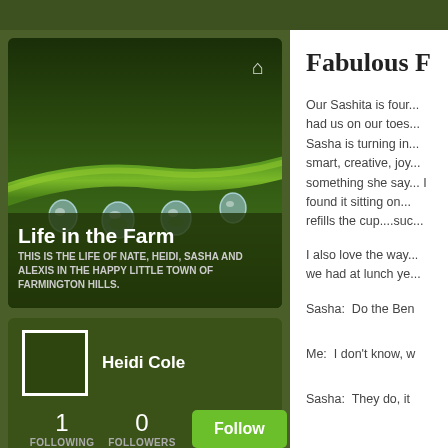[Figure (screenshot): Blog header image showing water droplets on a green grass stem with dark green background]
Life in the Farm
THIS IS THE LIFE OF NATE, HEIDI, SASHA AND ALEXIS IN THE HAPPY LITTLE TOWN OF FARMINGTON HILLS.
Heidi Cole
1 FOLLOWING   0 FOLLOWERS   Follow
Fabulous F
Our Sashita is four... had us on our toes... Sasha is turning in... smart, creative, joy... something she say... I found it sitting on... refills the cup....suc...
I also love the way... we had at lunch ye...
Sasha:  Do the Ben
Me:  I don't know, w
Sasha:  They do, it